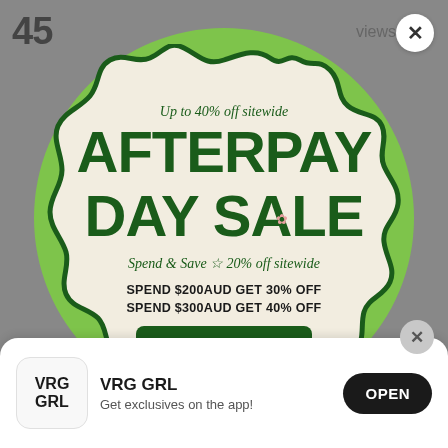45
views
[Figure (infographic): Afterpay Day Sale promotional popup with wavy cream-colored blob on green circle background. Text reads: Up to 40% off sitewide, AFTERPAY DAY SALE, Spend & Save 20% off sitewide, SPEND $200AUD GET 30% OFF, SPEND $300AUD GET 40% OFF, SHOP NOW button]
VRG GRL
Get exclusives on the app!